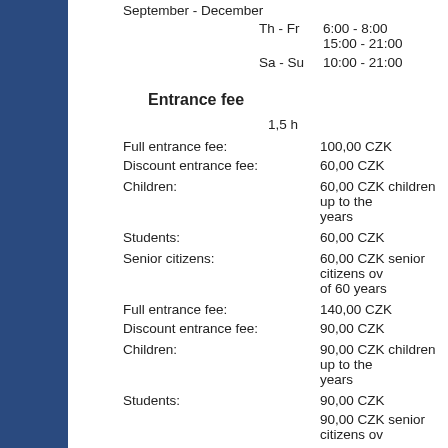September - December
| Day | Times |
| --- | --- |
| Th - Fr | 6:00 - 8:00
15:00 - 21:00 |
| Sa - Su | 10:00 - 21:00 |
Entrance fee
1,5 h
| Category | Fee |
| --- | --- |
| Full entrance fee: | 100,00 CZK |
| Discount entrance fee: | 60,00 CZK |
| Children: | 60,00 CZK children up to the years |
| Students: | 60,00 CZK |
| Senior citizens: | 60,00 CZK senior citizens over of 60 years |
| Full entrance fee: | 140,00 CZK |
| Discount entrance fee: | 90,00 CZK |
| Children: | 90,00 CZK children up to the years |
| Students: | 90,00 CZK |
|  | 90,00 CZK senior citizens ov |